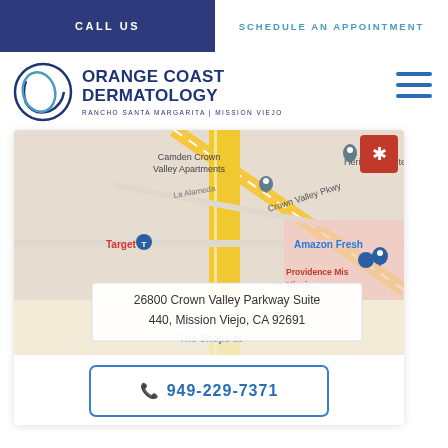CALL US
SCHEDULE AN APPOINTMENT
[Figure (logo): Orange Coast Dermatology logo with circular icon and text: ORANGE COAST DERMATOLOGY, RANCHO SANTA MARGARITA | MISSION VIEJO]
[Figure (map): Google map showing 26800 Crown Valley Parkway Suite 440, Mission Viejo, CA 92691, with nearby landmarks: Camden Crown Valley Apartments, Amazon Fresh, Target, Heritage Pointe, The Shops at, Providence Mission Hospital, Crown Valley Pkwy]
26800 Crown Valley Parkway Suite 440, Mission Viejo, CA 92691
949-229-7371